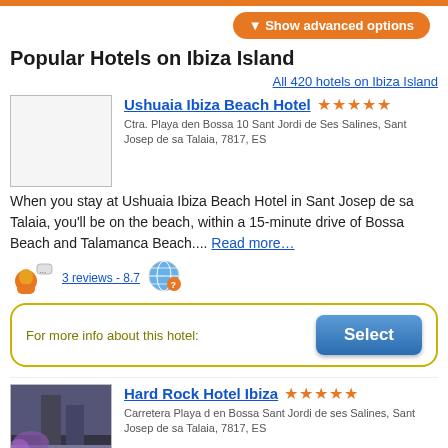Show advanced options
Popular Hotels on Ibiza Island
All 420 hotels on Ibiza Island
Ushuaia Ibiza Beach Hotel ★★★★★
Ctra. Playa den Bossa 10 Sant Jordi de Ses Salines, Sant Josep de sa Talaia, 7817, ES
When you stay at Ushuaia Ibiza Beach Hotel in Sant Josep de sa Talaia, you'll be on the beach, within a 15-minute drive of Bossa Beach and Talamanca Beach.... Read more…
3 reviews - 8.7
For more info about this hotel:
Hard Rock Hotel Ibiza ★★★★★
Carretera Playa d en Bossa Sant Jordi de ses Salines, Sant Josep de sa Talaia, 7817, ES
Located in Sant Josep de sa Talaia, Hard Rock Hotel Ibiza is connected to the convention center, a 1-minute drive from